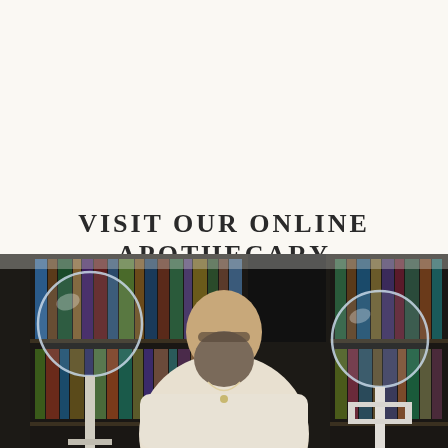VISIT OUR ONLINE APOTHECARY
VISIT APOTHECARY
[Figure (photo): A bearded man with glasses wearing a white robe, smiling, surrounded by laboratory glassware (large glass spheres on stands) and bookshelves filled with books in the background.]